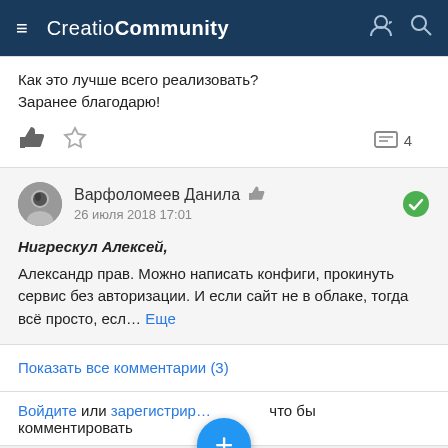Creatio Community
Как это лучше всего реализовать?
Заранее благодарю!
Варфоломеев Данила  26 июля 2018 17:01
Нигрескул Алексей,
Александр прав. Можно написать конфиги, прокинуть сервис без авторизации. И если сайт не в облаке, тогда всё просто, есл... Еще
Показать все комментарии (3)
Войдите или зарегистрир... что бы комментировать
Вопрос  #JScript  #Технические вопросы  #7.x